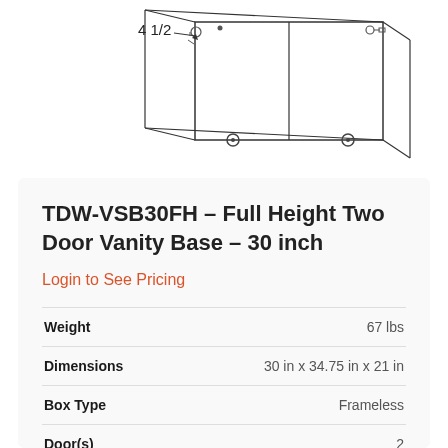[Figure (engineering-diagram): Cabinet engineering diagram showing a two-door vanity base unit viewed from front-corner perspective with dimension annotation '4 1/2' and hardware/hinge details visible. Doors shown open with measurement indicators.]
TDW-VSB30FH – Full Height Two Door Vanity Base – 30 inch
Login to See Pricing
| Specification | Value |
| --- | --- |
| Weight | 67 lbs |
| Dimensions | 30 in x 34.75 in x 21 in |
| Box Type | Frameless |
| Door(s) | 2 |
| Drawer(s) | 0 |
| Shelf |  |